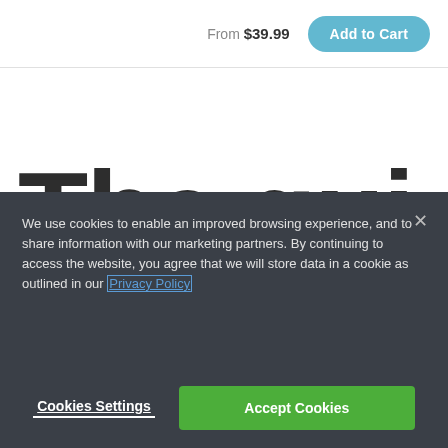From $39.99  Add to Cart
The qui.
ITC Eras Ultra
We use cookies to enable an improved browsing experience, and to share information with our marketing partners. By continuing to access the website, you agree that we will store data in a cookie as outlined in our Privacy Policy
Cookies Settings  Accept Cookies